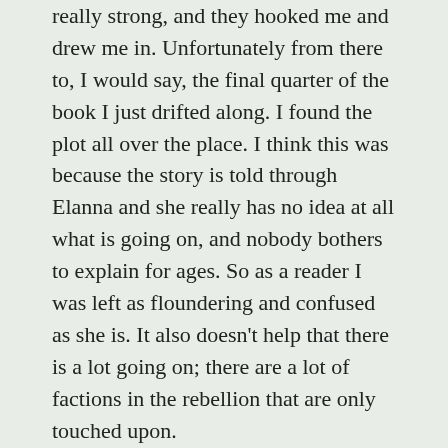really strong, and they hooked me and drew me in. Unfortunately from there to, I would say, the final quarter of the book I just drifted along. I found the plot all over the place. I think this was because the story is told through Elanna and she really has no idea at all what is going on, and nobody bothers to explain for ages. So as a reader I was left as floundering and confused as she is. It also doesn't help that there is a lot going on; there are a lot of factions in the rebellion that are only touched upon.
It feels really weird to say this, but I didn't – and still don't – feel anything one way or the other about any of the characters, even the bad guys I feel pretty meh about. I'm pretty sure this wasn't purposeful on Bates's part that I am supposed to root for Elanna but I just didn't feel invested in her story. I don't think this